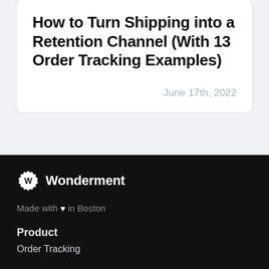How to Turn Shipping into a Retention Channel (With 13 Order Tracking Examples)
June 17th, 2022
[Figure (logo): Wonderment logo: gear/badge icon with 'W' and the word Wonderment in white on black background]
Made with ♥ in Boston
Product
Order Tracking